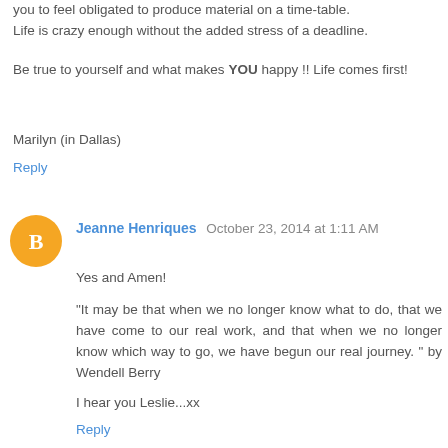you to feel obligated to produce material on a time-table. Life is crazy enough without the added stress of a deadline.
Be true to yourself and what makes YOU happy !! Life comes first!
Marilyn (in Dallas)
Reply
Jeanne Henriques October 23, 2014 at 1:11 AM
Yes and Amen!
"It may be that when we no longer know what to do, that we have come to our real work, and that when we no longer know which way to go, we have begun our real journey. " by Wendell Berry
I hear you Leslie...xx
Reply